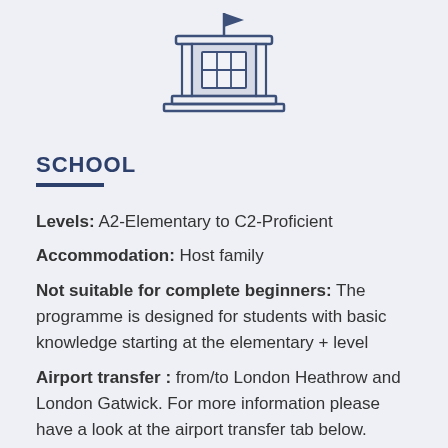[Figure (illustration): Icon of a school/university building with columns, windows, and a flag on top, drawn in a gray-blue outline style on a light blue-gray background.]
SCHOOL
Levels: A2-Elementary to C2-Proficient
Accommodation: Host family
Not suitable for complete beginners: The programme is designed for students with basic knowledge starting at the elementary + level
Airport transfer : from/to London Heathrow and London Gatwick. For more information please have a look at the airport transfer tab below.